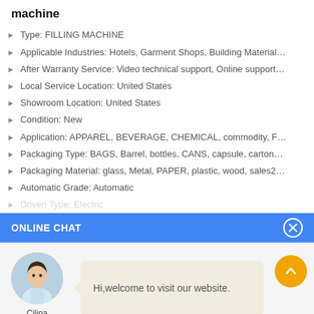machine
Type: FILLING MACHINE
Applicable Industries: Hotels, Garment Shops, Building Material ...
After Warranty Service: Video technical support, Online support, ...
Local Service Location: United States
Showroom Location: United States
Condition: New
Application: APPAREL, BEVERAGE, CHEMICAL, commodity, Food, M...
Packaging Type: BAGS, Barrel, bottles, CANS, capsule, cartons, c...
Packaging Material: glass, Metal, PAPER, plastic, wood, sales22...
Automatic Grade: Automatic
Driven Type: Electric
ONLINE CHAT
Hi,welcome to visit our website.
Cilina